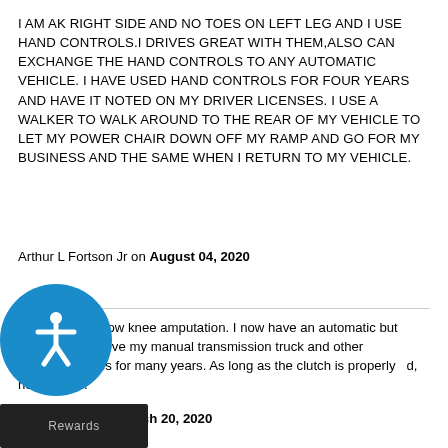I AM AK RIGHT SIDE AND NO TOES ON LEFT LEG AND I USE HAND CONTROLS.I DRIVES GREAT WITH THEM,ALSO CAN EXCHANGE THE HAND CONTROLS TO ANY AUTOMATIC VEHICLE. I HAVE USED HAND CONTROLS FOR FOUR YEARS AND HAVE IT NOTED ON MY DRIVER LICENSES. I USE A WALKER TO WALK AROUND TO THE REAR OF MY VEHICLE TO LET MY POWER CHAIR DOWN OFF MY RAMP AND GO FOR MY BUSINESS AND THE SAME WHEN I RETURN TO MY VEHICLE.
Arthur L Fortson Jr on August 04, 2020
I have a left below knee amputation. I now have an automatic but successfully drove my manual transmission truck and other vehicles with clutches for many years. As long as the clutch is properly adjusted, no problem.
Rudolf Hehn on March 20, 2020